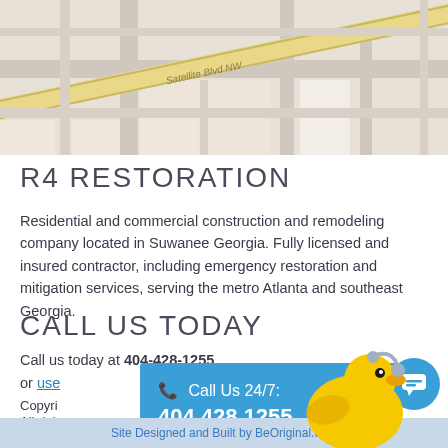[Figure (map): Street map showing Satellite Blvd NW road in a light beige/gray street map style]
R4 RESTORATION
Residential and commercial construction and remodeling company located in Suwanee Georgia. Fully licensed and insured contractor, including emergency restoration and mitigation services, serving the metro Atlanta and southeast Georgia.
CALL US TODAY
Call us today at 404-428-1255
or use [link]
[Figure (infographic): Blue call banner with phone icon showing Call Us 24/7: 404.428.1255, with yellow rubber duck mascot and blue chat bubble button]
Copyright
All rights reserved
Site Designed and Built by BeOriginal.com